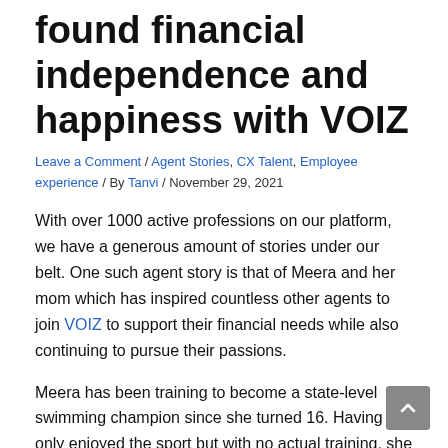found financial independence and happiness with VOIZ
Leave a Comment / Agent Stories, CX Talent, Employee experience / By Tanvi / November 29, 2021
With over 1000 active professions on our platform, we have a generous amount of stories under our belt. One such agent story is that of Meera and her mom which has inspired countless other agents to join VOIZ to support their financial needs while also continuing to pursue their passions.
Meera has been training to become a state-level swimming champion since she turned 16. Having only enjoyed the sport but with no actual training, she had to work twice as hard to achieve her dreams. Her mother, Vaani, quit her 16-hour desk job to be able to support